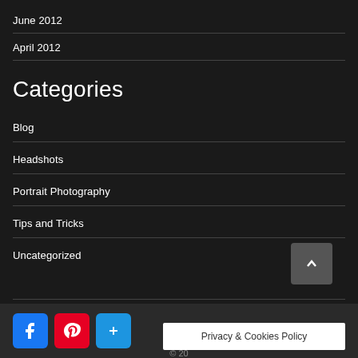June 2012
April 2012
Categories
Blog
Headshots
Portrait Photography
Tips and Tricks
Uncategorized
Privacy & Cookies Policy  © 20…